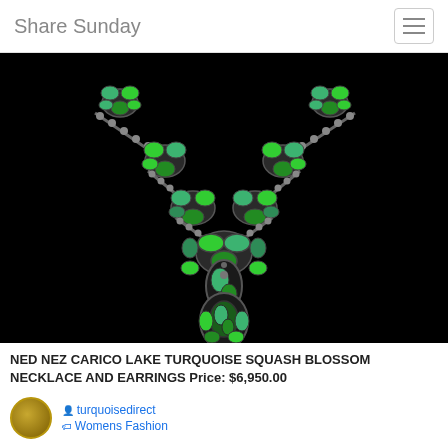Share Sunday
[Figure (photo): A Ned Nez Carico Lake turquoise squash blossom necklace and earrings displayed against a black background. The necklace features large green turquoise stones set in silver, arranged in a V-shape with floral cluster motifs and a central pendant drop.]
NED NEZ CARICO LAKE TURQUOISE SQUASH BLOSSOM NECKLACE AND EARRINGS Price: $6,950.00
turquoisedirect
Womens Fashion